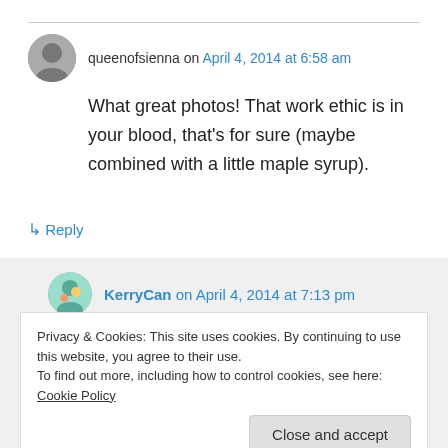queenofsienna on April 4, 2014 at 6:58 am
[Figure (photo): Avatar/profile image of queenofsienna, grayscale circular photo]
What great photos! That work ethic is in your blood, that's for sure (maybe combined with a little maple syrup).
↳ Reply
[Figure (photo): Avatar/profile image of KerryCan, small colorful circular photo]
KerryCan on April 4, 2014 at 7:13 pm
Privacy & Cookies: This site uses cookies. By continuing to use this website, you agree to their use.
To find out more, including how to control cookies, see here: Cookie Policy
Close and accept